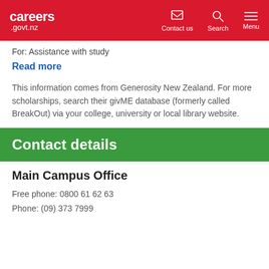careers .govt.nz — Contact us | Search | Menu
For: Assistance with study
Read more
This information comes from Generosity New Zealand. For more scholarships, search their givME database (formerly called BreakOut) via your college, university or local library website.
Contact details
Main Campus Office
Free phone: 0800 61 62 63
Phone: (09) 373 7999